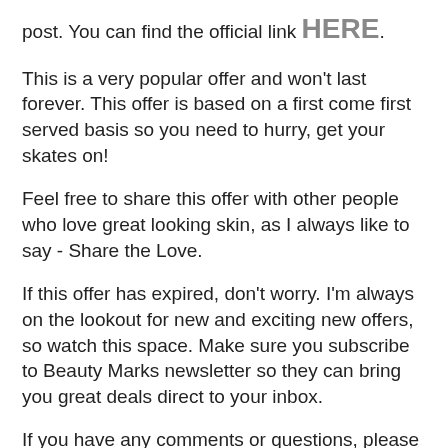post. You can find the official link HERE.
This is a very popular offer and won't last forever. This offer is based on a first come first served basis so you need to hurry, get your skates on!
Feel free to share this offer with other people who love great looking skin, as I always like to say - Share the Love.
If this offer has expired, don't worry. I'm always on the lookout for new and exciting new offers, so watch this space. Make sure you subscribe to Beauty Marks newsletter so they can bring you great deals direct to your inbox.
If you have any comments or questions, please leave them in the comments section below.